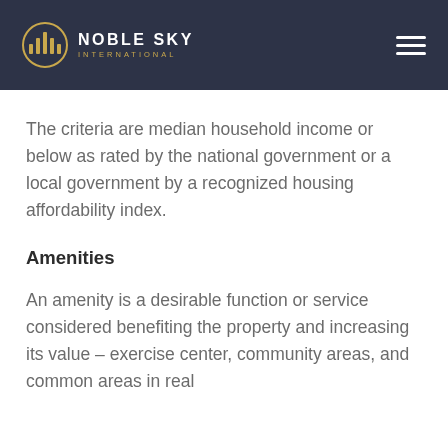NOBLE SKY INTERNATIONAL
The criteria are median household income or below as rated by the national government or a local government by a recognized housing affordability index.
Amenities
An amenity is a desirable function or service considered benefiting the property and increasing its value – exercise center, community areas, and common areas in real